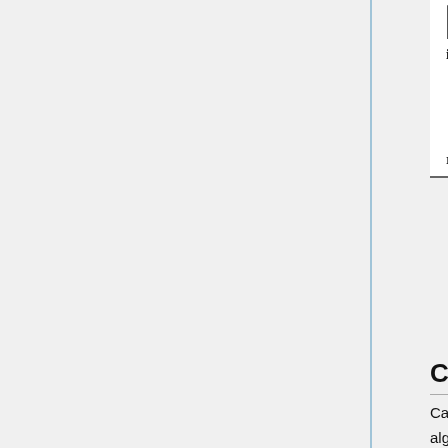Figure 2: Algorithm to build a tree in Catboost
CatBoost Results
CatBoost is implemented as an algorithm for gradient boosting on decision trees. The algorithm is compared with the most popular open-source libraries – XGBoost and LightBGM. Categorical features are preprocessed using Ordered TS method for CatBoost. The results measured by